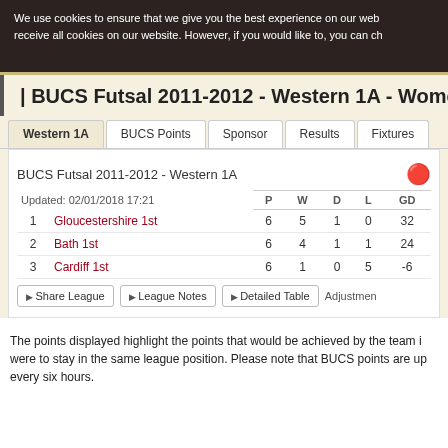We use cookies to ensure that we give you the best experience on our web receive all cookies on our website. However, if you would like to, you can ch
BUCS Futsal 2011-2012 - Western 1A - Women's
|  |  | P | W | D | L | GD |
| --- | --- | --- | --- | --- | --- | --- |
| Updated: 02/01/2018 17:21 |  |  |  |  |  |  |
| 1 | Gloucestershire 1st | 6 | 5 | 1 | 0 | 32 |
| 2 | Bath 1st | 6 | 4 | 1 | 1 | 24 |
| 3 | Cardiff 1st | 6 | 1 | 0 | 5 | -6 |
The points displayed highlight the points that would be achieved by the team i were to stay in the same league position. Please note that BUCS points are up every six hours.